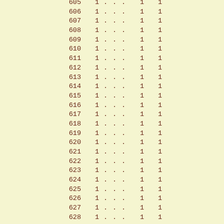| 605 | 1 | . | . | . | 1 | 1 |
| 606 | 1 | . | . | . | 1 | 1 |
| 607 | 1 | . | . | . | 1 | 1 |
| 608 | 1 | . | . | . | 1 | 1 |
| 609 | 1 | . | . | . | 1 | 1 |
| 610 | 1 | . | . | . | 1 | 1 |
| 611 | 1 | . | . | . | 1 | 1 |
| 612 | 1 | . | . | . | 1 | 1 |
| 613 | 1 | . | . | . | 1 | 1 |
| 614 | 1 | . | . | . | 1 | 1 |
| 615 | 1 | . | . | . | 1 | 1 |
| 616 | 1 | . | . | . | 1 | 1 |
| 617 | 1 | . | . | . | 1 | 1 |
| 618 | 1 | . | . | . | 1 | 1 |
| 619 | 1 | . | . | . | 1 | 1 |
| 620 | 1 | . | . | . | 1 | 1 |
| 621 | 1 | . | . | . | 1 | 1 |
| 622 | 1 | . | . | . | 1 | 1 |
| 623 | 1 | . | . | . | 1 | 1 |
| 624 | 1 | . | . | . | 1 | 1 |
| 625 | 1 | . | . | . | 1 | 1 |
| 626 | 1 | . | . | . | 1 | 1 |
| 627 | 1 | . | . | . | 1 | 1 |
| 628 | 1 | . | . | . | 1 | 1 |
| 629 | 1 | . | . | . | 1 | 1 |
| 630 | 1 | . | . | . | 1 | 1 |
| 631 | 1 | . | . | . | 1 | 1 |
| 632 | 1 | . | . | . | 1 | 1 |
| 633 | 1 | . | . | . | 1 | 1 |
| 634 | 1 |  |  |  | 1 | 1 |